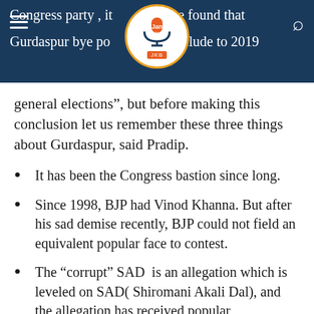Congress party, it came be found that Gurdaspur bye poll [logo] prelude to 2019
general elections”, but before making this conclusion let us remember these three things about Gurdaspur, said Pradip.
It has been the Congress bastion since long.
Since 1998, BJP had Vinod Khanna. But after his sad demise recently, BJP could not field an equivalent popular face to contest.
The “corrupt” SAD  is an allegation which is leveled on SAD( Shiromani Akali Dal), and the allegation has received popular